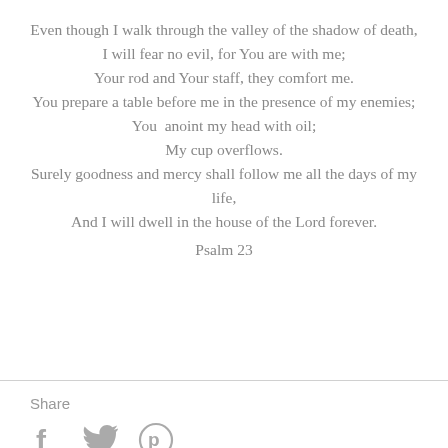Even though I walk through the valley of the shadow of death,
I will fear no evil, for You are with me;
Your rod and Your staff, they comfort me.
You prepare a table before me in the presence of my enemies;
You  anoint my head with oil;
My cup overflows.
Surely goodness and mercy shall follow me all the days of my life,
And I will dwell in the house of the Lord forever.
Psalm 23
Share
[Figure (other): Social share icons: Facebook (f), Twitter (bird), Pinterest (P circle)]